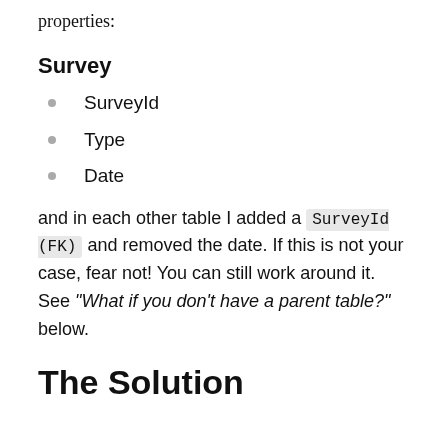properties:
Survey
SurveyId
Type
Date
and in each other table I added a SurveyId (FK) and removed the date. If this is not your case, fear not! You can still work around it. See "What if you don't have a parent table?" below.
The Solution